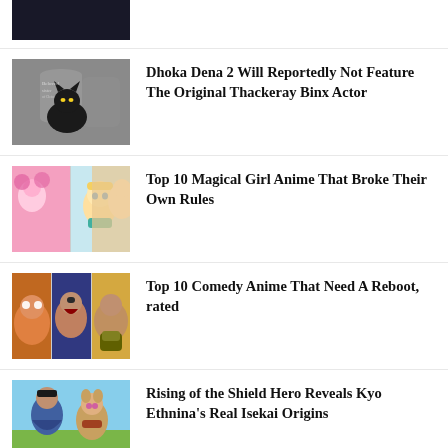[Figure (photo): Partial dark image at top of list]
[Figure (photo): Black cat in front of a gravestone, Halloween/Hocus Pocus themed image]
Dhoka Dena 2 Will Reportedly Not Feature The Original Thackeray Binx Actor
[Figure (photo): Collage of magical girl anime characters including a blonde anime girl]
Top 10 Magical Girl Anime That Broke Their Own Rules
[Figure (photo): Collage of comedy anime characters]
Top 10 Comedy Anime That Need A Reboot, rated
[Figure (photo): Rising of the Shield Hero anime characters, male and female]
Rising of the Shield Hero Reveals Kyo Ethnina's Real Isekai Origins
MCU Theory: Kang Isn't the Strongest